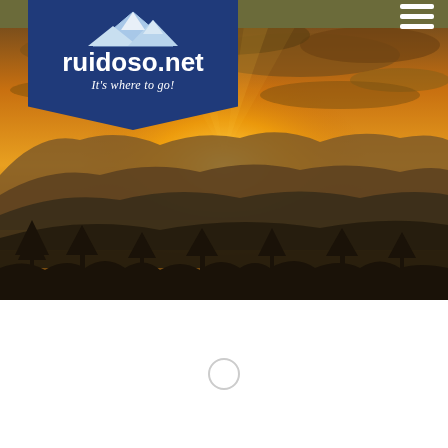[Figure (screenshot): ruidoso.net website screenshot showing logo banner on olive/khaki header bar, a scenic sunset photo of mountain silhouettes with golden sky, and a white content area below with a loading spinner circle.]
ruidoso.net It's where to go!